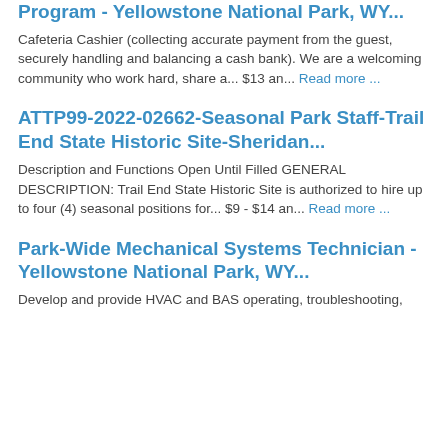Program - Yellowstone National Park, WY...
Cafeteria Cashier (collecting accurate payment from the guest, securely handling and balancing a cash bank). We are a welcoming community who work hard, share a... $13 an... Read more ...
ATTP99-2022-02662-Seasonal Park Staff-Trail End State Historic Site-Sheridan...
Description and Functions Open Until Filled GENERAL DESCRIPTION: Trail End State Historic Site is authorized to hire up to four (4) seasonal positions for... $9 - $14 an... Read more ...
Park-Wide Mechanical Systems Technician -Yellowstone National Park, WY...
Develop and provide HVAC and BAS operating, troubleshooting,